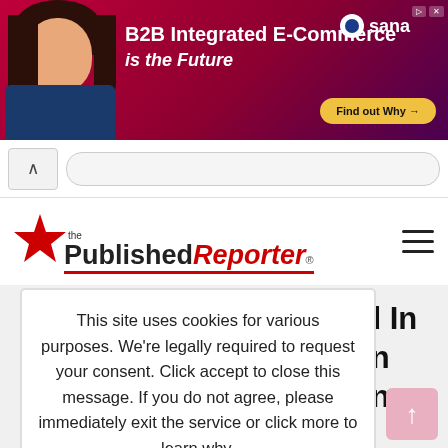[Figure (screenshot): Advertisement banner for Sana B2B Integrated E-Commerce with woman photo and 'Find out Why' button]
[Figure (screenshot): Browser navigation bar with back arrow and address bar]
[Figure (logo): The Published Reporter logo with red star and red italic Reporter text]
This site uses cookies for various purposes. We're legally required to request your consent. Click accept to close this message. If you do not agree, please immediately exit the service or click more to learn why.
Accept
More
...ged In ...st In ...m In; ...To Scene